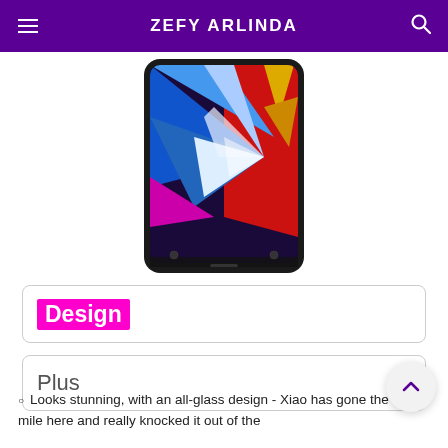ZEFY ARLINDA
[Figure (photo): A smartphone displaying a colorful abstract wallpaper with blue, red, yellow, and white burst pattern, shown from the front with a black bezel.]
Design
Plus
Looks stunning, with an all-glass design - Xiaomi has gone the extra mile here and really knocked it out of the